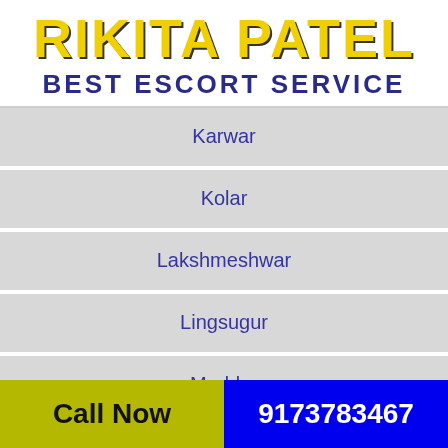RIKITA PATEL BEST ESCORT SERVICE
Karwar
Kolar
Lakshmeshwar
Lingsugur
Maddur
Madhugiri
Call Now  9173783467